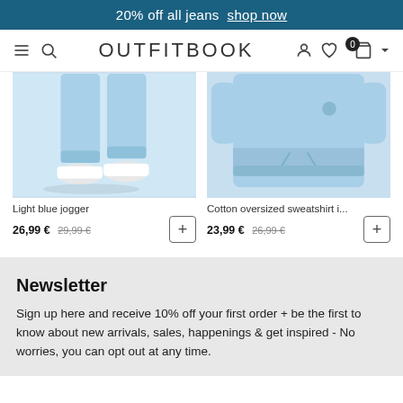20% off all jeans  shop now
OUTFITBOOK
[Figure (photo): Light blue jogger pants on a person wearing white sneakers, against a light grey background]
Light blue jogger
26,99 € 29,99 €
[Figure (photo): Cotton oversized sweatshirt in light blue, close-up of torso and waist area]
Cotton oversized sweatshirt i...
23,99 € 26,99 €
Newsletter
Sign up here and receive 10% off your first order + be the first to know about new arrivals, sales, happenings & get inspired - No worries, you can opt out at any time.